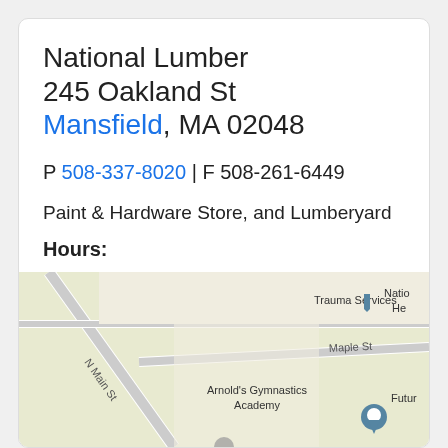National Lumber
245 Oakland St
Mansfield, MA 02048
P 508-337-8020 | F 508-261-6449
Paint & Hardware Store, and Lumberyard
Hours:
Monday–Friday 6:30am–5pm
Saturday 8am–3pm
Store Manager: Lacey Martin
[Figure (map): Google Maps partial view showing N Main St, Maple St, Trauma Services, Arnold's Gymnastics Academy, and partial labels for National and Future businesses with a location pin]